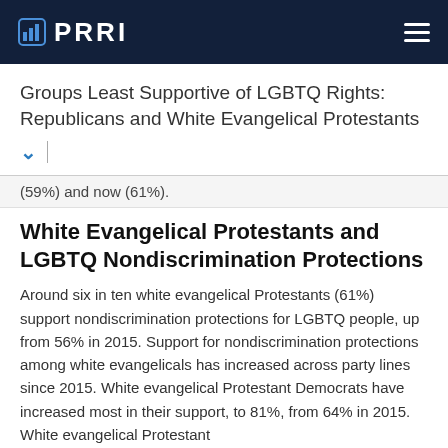PRRI
Groups Least Supportive of LGBTQ Rights: Republicans and White Evangelical Protestants
(59%) and now (61%).
White Evangelical Protestants and LGBTQ Nondiscrimination Protections
Around six in ten white evangelical Protestants (61%) support nondiscrimination protections for LGBTQ people, up from 56% in 2015. Support for nondiscrimination protections among white evangelicals has increased across party lines since 2015. White evangelical Protestant Democrats have increased most in their support, to 81%, from 64% in 2015. White evangelical Protestant